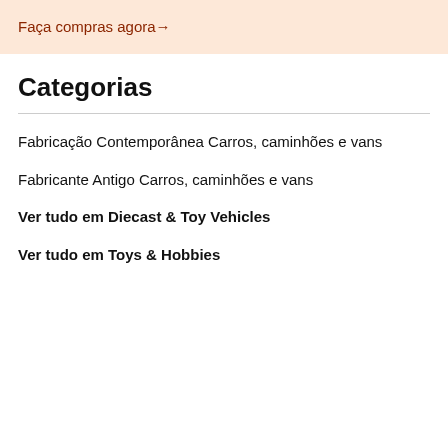Faça compras agora →
Categorias
Fabricação Contemporânea Carros, caminhões e vans
Fabricante Antigo Carros, caminhões e vans
Ver tudo em Diecast & Toy Vehicles
Ver tudo em Toys & Hobbies